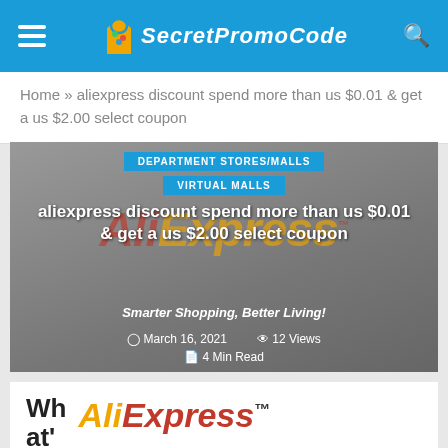SecretPromoCode
Home » aliexpress discount spend more than us $0.01 & get a us $2.00 select coupon
[Figure (screenshot): AliExpress branded featured image with dark overlay showing article title, date March 16 2021, 12 Views, 4 Min Read, and category tags DEPARTMENT STORES/MALLS and VIRTUAL MALLS]
What's